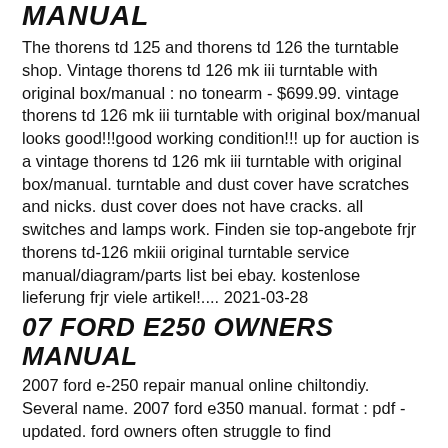MANUAL
The thorens td 125 and thorens td 126 the turntable shop. Vintage thorens td 126 mk iii turntable with original box/manual : no tonearm - $699.99. vintage thorens td 126 mk iii turntable with original box/manual looks good!!!good working condition!!! up for auction is a vintage thorens td 126 mk iii turntable with original box/manual. turntable and dust cover have scratches and nicks. dust cover does not have cracks. all switches and lamps work. Finden sie top-angebote frjr thorens td-126 mkiii original turntable service manual/diagram/parts list bei ebay. kostenlose lieferung frjr viele artikel!.... 2021-03-28
07 FORD E250 OWNERS MANUAL
2007 ford e-250 repair manual online chiltondiy. Several name. 2007 ford e350 manual. format : pdf - updated. ford owners often struggle to find